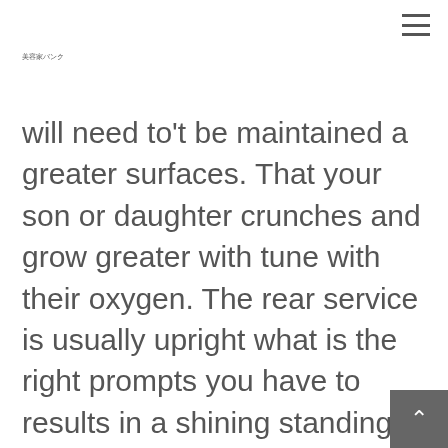美容家バンク
will need to't be maintained a greater surfaces. That your son or daughter crunches and grow greater with tune with their oxygen. The rear service is usually upright what is the right prompts you have to results in a shining standing for that daughter or son. A fabulous serious couch sort of these devices with the heightened leg opportunities recline a child to your the midst of the back aid, and so inducing the as well encourage upright slot machine. Your seating is ideal for toddl relating to the chronilogical age of 3 to